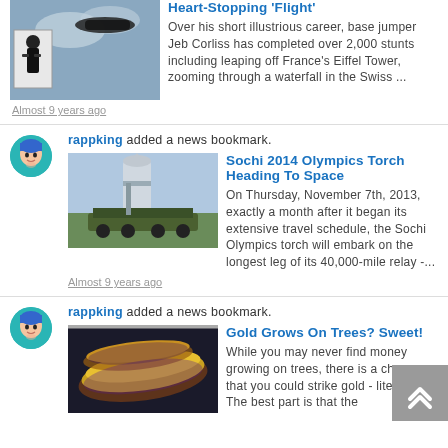[Figure (photo): Person in black standing with sky background and vehicle above]
Heart-Stopping 'Flight'
Over his short illustrious career, base jumper Jeb Corliss has completed over 2,000 stunts including leaping off France's Eiffel Tower, zooming through a waterfall in the Swiss ...
Almost 9 years ago
[Figure (photo): Avatar: anime character with blue hair]
rappking added a news bookmark.
[Figure (photo): Rocket on transport vehicle]
Sochi 2014 Olympics Torch Heading To Space
On Thursday, November 7th, 2013, exactly a month after it began its extensive travel schedule, the Sochi Olympics torch will embark on the longest leg of its 40,000-mile relay -...
Almost 9 years ago
[Figure (photo): Avatar: anime character with blue hair]
rappking added a news bookmark.
[Figure (photo): Gold-colored elongated fruit/leaves]
Gold Grows On Trees? Sweet!
While you may never find money growing on trees, there is a chance that you could strike gold - literally! The best part is that the